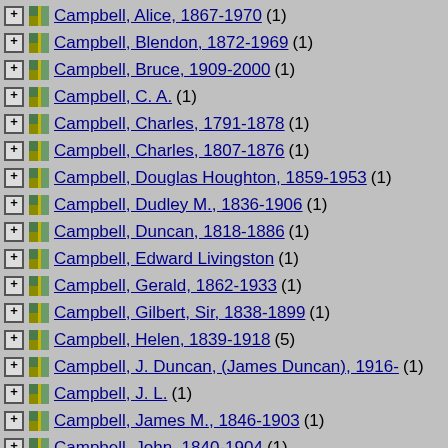Campbell, Alice, 1867-1970 (1)
Campbell, Blendon, 1872-1969 (1)
Campbell, Bruce, 1909-2000 (1)
Campbell, C. A. (1)
Campbell, Charles, 1791-1878 (1)
Campbell, Charles, 1807-1876 (1)
Campbell, Douglas Houghton, 1859-1953 (1)
Campbell, Dudley M., 1836-1906 (1)
Campbell, Duncan, 1818-1886 (1)
Campbell, Edward Livingston (1)
Campbell, Gerald, 1862-1933 (1)
Campbell, Gilbert, Sir, 1838-1899 (1)
Campbell, Helen, 1839-1918 (5)
Campbell, J. Duncan, (James Duncan), 1916- (1)
Campbell, J. L. (1)
Campbell, James M., 1846-1903 (1)
Campbell, John, 1840-1904 (1)
Campbell, John, 1869-1947 (1)